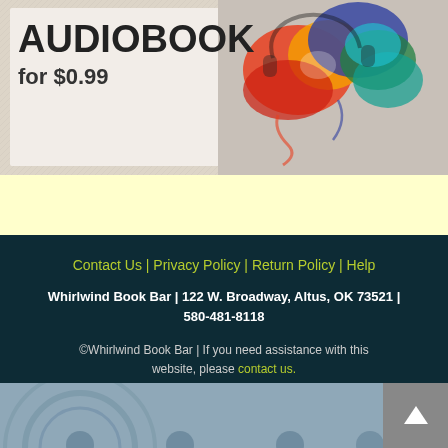[Figure (illustration): Audiobook promotional banner showing bold text 'AUDIOBOOK for $0.99' on left with colorful paint splash/headphones graphic on right against textured background]
Contact Us | Privacy Policy | Return Policy | Help
Whirlwind Book Bar | 122 W. Broadway, Altus, OK 73521 | 580-481-8118
©Whirlwind Book Bar | If you need assistance with this website, please contact us.
[Figure (illustration): Bottom strip showing a blueish-grey image partially visible, with a back-to-top arrow button on the lower right]